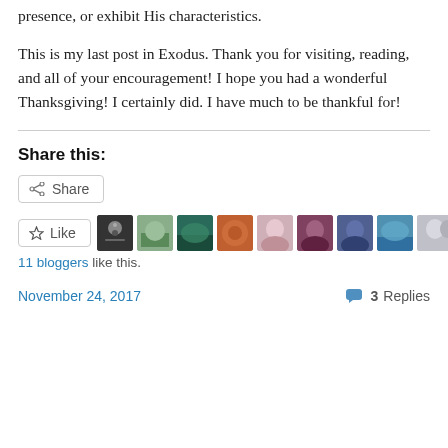presence, or exhibit His characteristics.
This is my last post in Exodus. Thank you for visiting, reading, and all of your encouragement! I hope you had a wonderful Thanksgiving! I certainly did. I have much to be thankful for!
Share this:
[Figure (screenshot): Share button with share icon]
[Figure (screenshot): Like button with star icon, followed by 11 blogger avatar thumbnails]
11 bloggers like this.
November 24, 2017    3 Replies